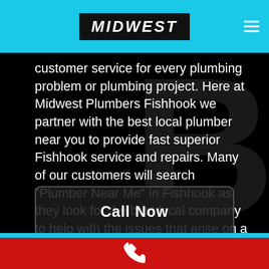MIDWEST
customer service for every plumbing problem or plumbing project. Here at Midwest Plumbers Fishhook we partner with the best local plumber near you to provide fast superior Fishhook service and repairs. Many of our customers will search "Plumber Near Me" in Fishhook as they look for the best local company to help with the issues that arise on a daily basis.
Call Now
[Figure (illustration): White phone handset icon on red footer bar]